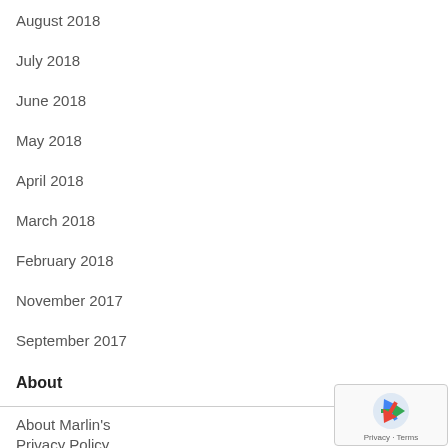August 2018
July 2018
June 2018
May 2018
April 2018
March 2018
February 2018
November 2017
September 2017
About
About Marlin's
Privacy Policy